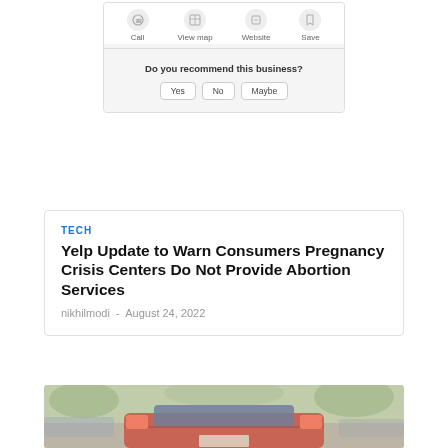[Figure (screenshot): Yelp business page UI screenshot showing Call, View map, Website, Save icons and 'Do you recommend this business?' prompt with Yes, No, Maybe buttons]
TECH
Yelp Update to Warn Consumers Pregnancy Crisis Centers Do Not Provide Abortion Services
nikhilmodi  -  August 24, 2022
[Figure (photo): Rear view of a red car in a parking lot or road with trees in background]